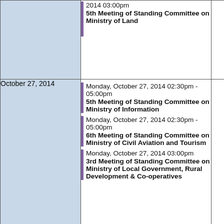| Date | Events |  |
| --- | --- | --- |
|  | 2014 03:00pm
5th Meeting of Standing Committee on Ministry of Land |  |
| October 27, 2014 | Monday, October 27, 2014 02:30pm - 05:00pm
5th Meeting of Standing Committee on Ministry of Information
Monday, October 27, 2014 02:30pm - 05:00pm
6th Meeting of Standing Committee on Ministry of Civil Aviation and Tourism
Monday, October 27, 2014 03:00pm
3rd Meeting of Standing Committee on Ministry of Local Government, Rural Development & Co-operatives |  |
| October 29, 2014 | Wednesday, October 29, 2014 09:30am
7th Adjourn Meeting on Standing Committee on Ministry of Shipping
Wednesday, October 29, |  |